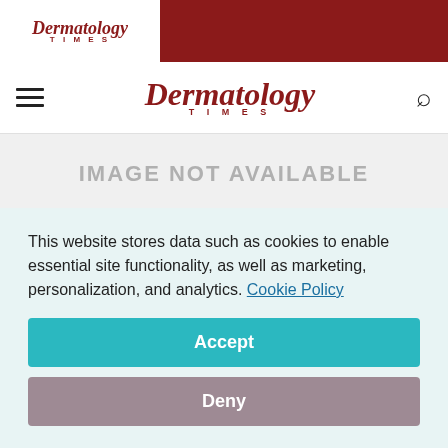Dermatology Times
[Figure (logo): Dermatology Times logo in navigation bar with hamburger menu and search icon]
[Figure (photo): IMAGE NOT AVAILABLE placeholder]
Key Points
This website stores data such as cookies to enable essential site functionality, as well as marketing, personalization, and analytics. Cookie Policy
Accept
Deny